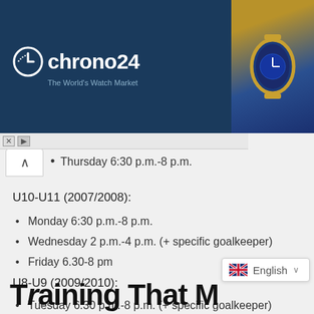[Figure (screenshot): Chrono24 watch marketplace advertisement banner with logo on dark blue background and watch photos]
Thursday 6:30 p.m.-8 p.m.
U10-U11 (2007/2008):
Monday 6:30 p.m.-8 p.m.
Wednesday 2 p.m.-4 p.m. (+ specific goalkeeper)
Friday 6.30-8 pm
U8-U9 (2009/2010):
Tuesday 6:30 p.m.-8 p.m. (+ specific goalkeeper)
Wednesday 6:30 p.m. – 8 p.m.